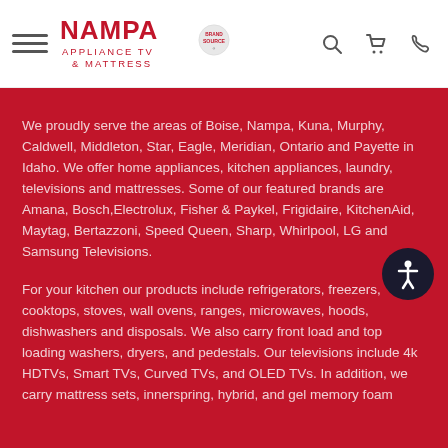[Figure (logo): Nampa Appliance TV & Mattress logo with Brand Source badge]
We proudly serve the areas of Boise, Nampa, Kuna, Murphy, Caldwell, Middleton, Star, Eagle, Meridian, Ontario and Payette in Idaho. We offer home appliances, kitchen appliances, laundry, televisions and mattresses. Some of our featured brands are Amana, Bosch, Electrolux, Fisher & Paykel, Frigidaire, KitchenAid, Maytag, Bertazzoni, Speed Queen, Sharp, Whirlpool, LG and Samsung Televisions.
For your kitchen our products include refrigerators, freezers, cooktops, stoves, wall ovens, ranges, microwaves, hoods, dishwashers and disposals. We also carry front load and top loading washers, dryers, and pedestals. Our televisions include 4k HDTVs, Smart TVs, Curved TVs, and OLED TVs. In addition, we carry mattress sets, innerspring, hybrid, and gel memory foam